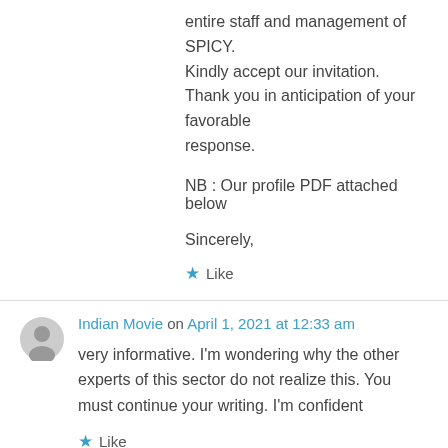entire staff and management of SPICY.
Kindly accept our invitation.
Thank you in anticipation of your favorable response.
NB : Our profile PDF attached below
Sincerely,
★ Like
Indian Movie on April 1, 2021 at 12:33 am
very informative. I'm wondering why the other experts of this sector do not realize this. You must continue your writing. I'm confident
★ Like